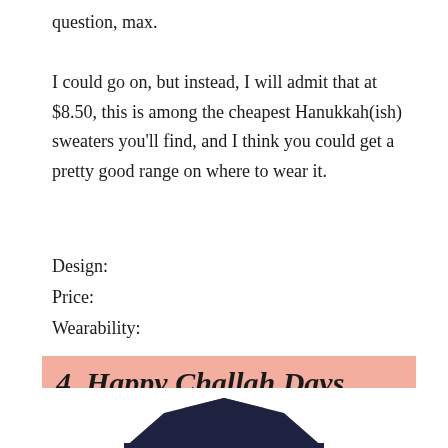question, max.
I could go on, but instead, I will admit that at $8.50, this is among the cheapest Hanukkah(ish) sweaters you'll find, and I think you could get a pretty good range on where to wear it.
Design:
Price:
Wearability:
4. Happy Challah Days ($23.95)
[Figure (photo): Bottom portion of a dark-colored sweater visible at bottom of page]